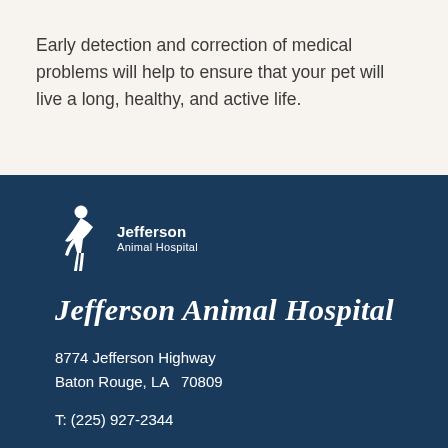Early detection and correction of medical problems will help to ensure that your pet will live a long, healthy, and active life.
[Figure (logo): Jefferson Animal Hospital logo: white silhouette of a bending/examining veterinarian figure with text 'Jefferson Animal Hospital' to the right]
Jefferson Animal Hospital
8774 Jefferson Highway
Baton Rouge, LA  70809
T: (225) 927-2344